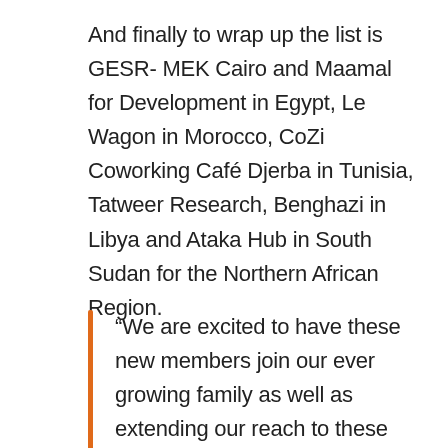And finally to wrap up the list is GESR- MEK Cairo and Maamal for Development in Egypt, Le Wagon in Morocco, CoZi Coworking Café Djerba in Tunisia, Tatweer Research, Benghazi in Libya and Ataka Hub in South Sudan for the Northern African Region.
“We are excited to have these new members join our ever growing family as well as extending our reach to these new countries thereby bringing us closer to the goal of having our community span across all 55 African countries. We believe